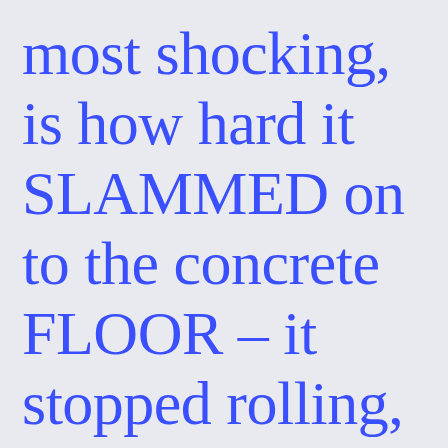most shocking, is how hard it SLAMMED on to the concrete FLOOR – it stopped rolling, only after hitting